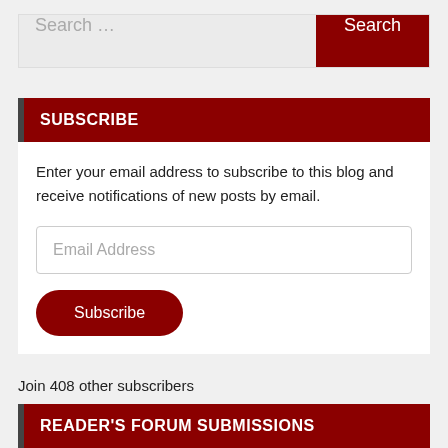Search …
SUBSCRIBE
Enter your email address to subscribe to this blog and receive notifications of new posts by email.
Email Address
Subscribe
Join 408 other subscribers
READER'S FORUM SUBMISSIONS